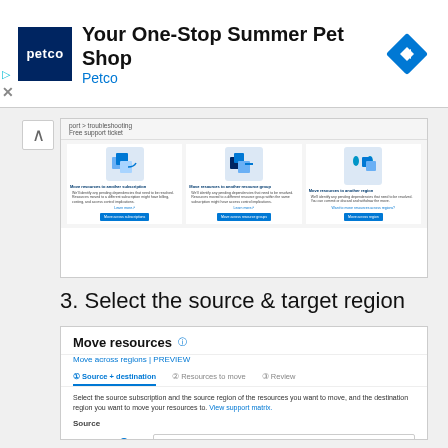[Figure (screenshot): Ad banner for Petco: 'Your One-Stop Summer Pet Shop' with Petco logo and navigation icon]
[Figure (screenshot): Azure portal screenshot showing Move resources options: Move to another subscription, Move to another resource group, Move to another region]
3. Select the source & target region
[Figure (screenshot): Azure Move Resources form showing 'Source + destination' tab, subscription field with 'papcotolicks-azinternal', region field with 'UK South']